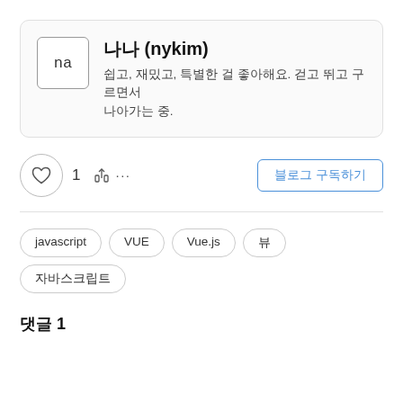[Figure (logo): Square logo box with 'na' text in monospace font]
나나 (nykim)
쉽고, 재밌고, 특별한 걸 좋아해요. 걷고 뛰고 구르면서 나아가는 중.
1
블로그 구독하기
javascript
VUE
Vue.js
뷰
자바스크립트
댓글 1